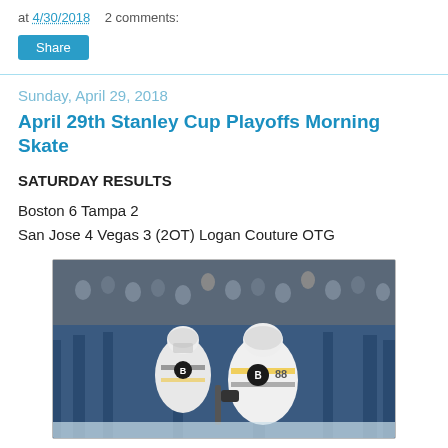at 4/30/2018   2 comments:
Share
Sunday, April 29, 2018
April 29th Stanley Cup Playoffs Morning Skate
SATURDAY RESULTS
Boston 6 Tampa 2
San Jose 4 Vegas 3 (2OT) Logan Couture OTG
[Figure (photo): Two Boston Bruins players in white jerseys with gold and black trim celebrating on the ice, crowd visible in background with blue arena boards]